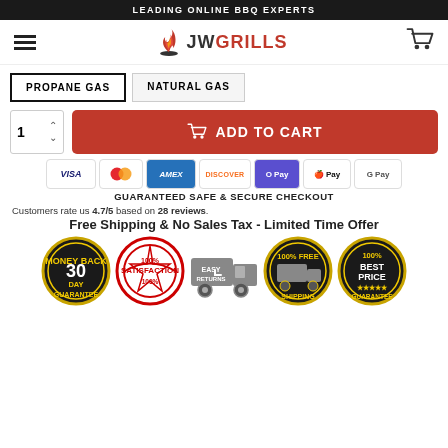LEADING ONLINE BBQ EXPERTS
[Figure (logo): JW Grills logo with flame icon]
PROPANE GAS
NATURAL GAS
ADD TO CART
[Figure (infographic): Payment icons: VISA, Mastercard, AMEX, DISCOVER, O Pay, Apple Pay, Google Pay]
GUARANTEED SAFE & SECURE CHECKOUT
Customers rate us 4.7/5 based on 28 reviews.
Free Shipping & No Sales Tax - Limited Time Offer
[Figure (infographic): Five trust badges: 30 Day Money Back Guarantee, 100% Satisfaction, Easy Returns truck, 100% Free Shipping, 100% Best Price Guarantee]